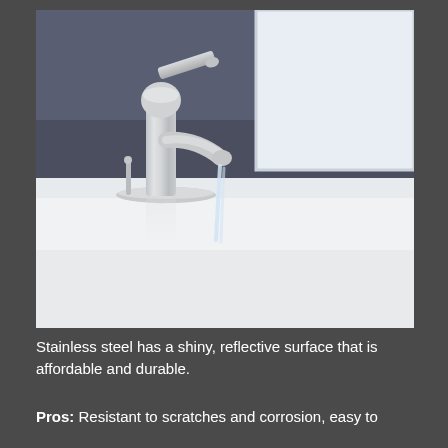[Figure (photo): A brushed nickel/stainless steel bathroom faucet with a single lever handle mounted on a white countertop. Water is flowing from the spout. Background shows a dark gray wall and a white mirror frame in the upper right corner.]
Stainless steel has a shiny, reflective surface that is affordable and durable.
Pros: Resistant to scratches and corrosion, easy to